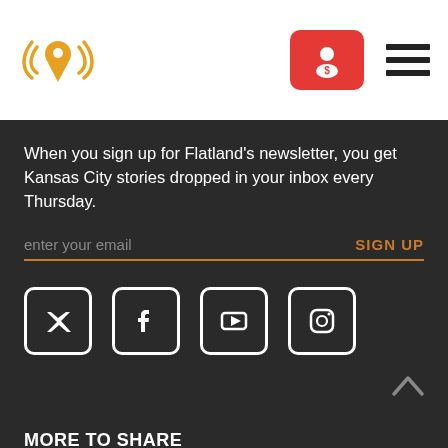[Figure (logo): Flatland logo with orange map pin and radio waves]
[Figure (other): Red subscribe button with person/dollar icon]
[Figure (other): Hamburger menu icon (three horizontal lines)]
When you sign up for Flatland’s newsletter, you get Kansas City stories dropped in your inbox every Thursday.
enter your email
SIGN UP
[Figure (other): Social media icons: Twitter, Facebook, YouTube, Instagram]
[Figure (other): Chevron up arrow]
MORE TO SHARE
curiousKC